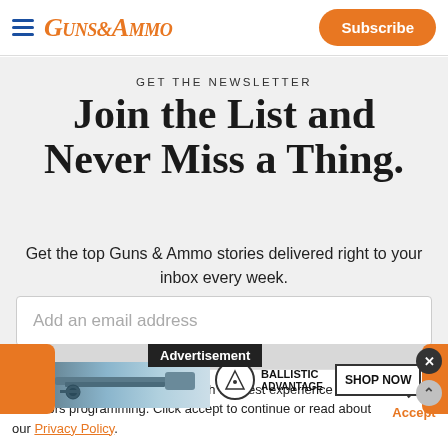Guns & Ammo — Subscribe
GET THE NEWSLETTER
Join the List and Never Miss a Thing.
Get the top Guns & Ammo stories delivered right to your inbox every week.
Add an email address
[Figure (screenshot): Advertisement banner with Ballistic Advantage logo and SHOP NOW button]
We use cookies to provide you with the best experience in Outdoors programming. Click accept to continue or read about our Privacy Policy.